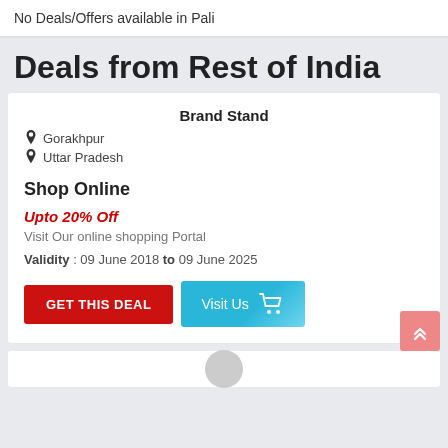No Deals/Offers available in Pali
Deals from Rest of India
Brand Stand
Gorakhpur
Uttar Pradesh
Shop Online
Upto 20% Off
Visit Our online shopping Portal
Validity : 09 June 2018 to 09 June 2025